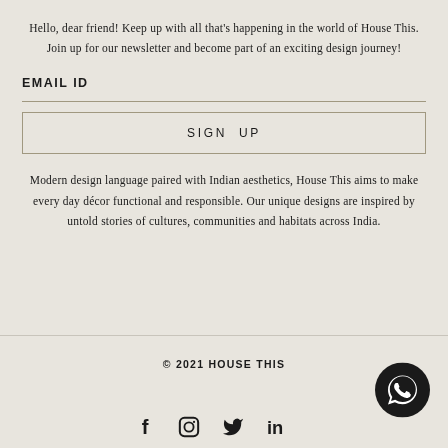Hello, dear friend! Keep up with all that's happening in the world of House This. Join up for our newsletter and become part of an exciting design journey!
EMAIL ID
SIGN UP
Modern design language paired with Indian aesthetics, House This aims to make every day décor functional and responsible. Our unique designs are inspired by untold stories of cultures, communities and habitats across India.
© 2021 HOUSE THIS